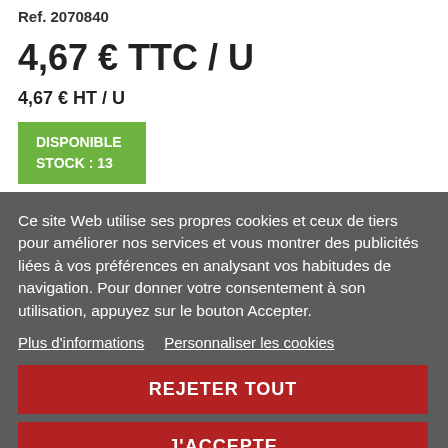Ref. 2070840
4,67 € TTC / U
4,67 € HT  / U
DISPONIBLE
STOCK : 13
Ce site Web utilise ses propres cookies et ceux de tiers pour améliorer nos services et vous montrer des publicités liées à vos préférences en analysant vos habitudes de navigation. Pour donner votre consentement à son utilisation, appuyez sur le bouton Accepter.
Plus d'informations   Personnaliser les cookies
REJETER TOUT
J'ACCEPTE